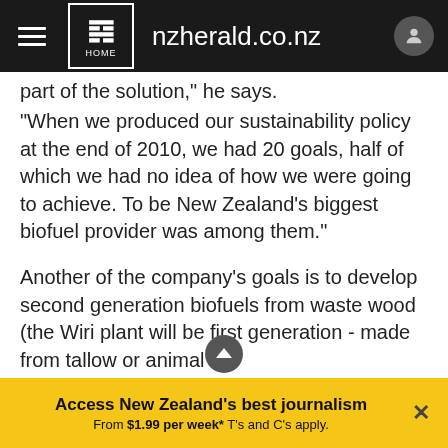nzherald.co.nz
part of the solution," he says.
"When we produced our sustainability policy at the end of 2010, we had 20 goals, half of which we had no idea of how we were going to achieve. To be New Zealand's biggest biofuel provider was among them."
Another of the company's goals is to develop second generation biofuels from waste wood (the Wiri plant will be first generation - made from tallow or animal fat.
Currently Z Energy has a feasibility study running with Norske Skog. "There are ris... says Bennetts, "but it's
Access New Zealand's best journalism From $1.99 per week* T's and C's apply.